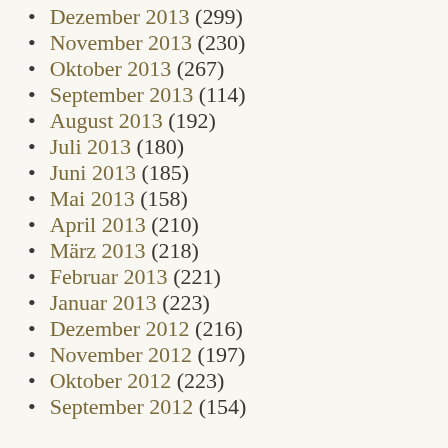Dezember 2013 (299)
November 2013 (230)
Oktober 2013 (267)
September 2013 (114)
August 2013 (192)
Juli 2013 (180)
Juni 2013 (185)
Mai 2013 (158)
April 2013 (210)
März 2013 (218)
Februar 2013 (221)
Januar 2013 (223)
Dezember 2012 (216)
November 2012 (197)
Oktober 2012 (223)
September 2012 (154)